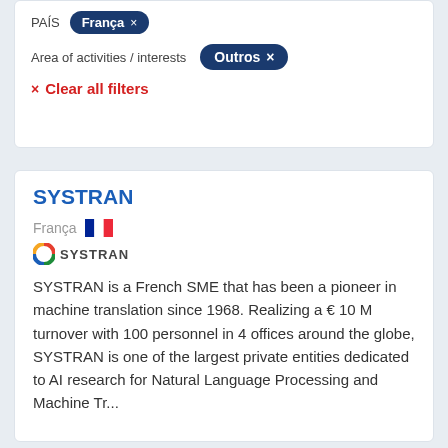PAÍS   França ×
Area of activities / interests   Outros ×
× Clear all filters
SYSTRAN
França
[Figure (other): SYSTRAN company logo with circular colorful icon and SYSTRAN text]
SYSTRAN is a French SME that has been a pioneer in machine translation since 1968. Realizing a € 10 M turnover with 100 personnel in 4 offices around the globe, SYSTRAN is one of the largest private entities dedicated to AI research for Natural Language Processing and Machine Tr...